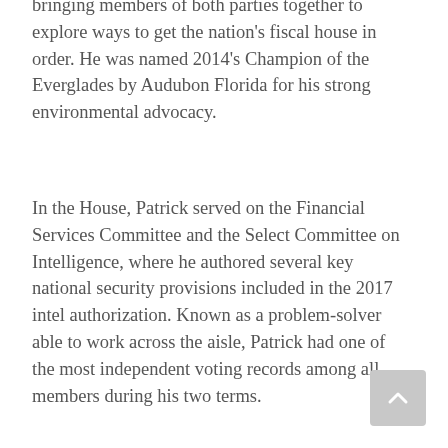bringing members of both parties together to explore ways to get the nation's fiscal house in order. He was named 2014's Champion of the Everglades by Audubon Florida for his strong environmental advocacy.
In the House, Patrick served on the Financial Services Committee and the Select Committee on Intelligence, where he authored several key national security provisions included in the 2017 intel authorization. Known as a problem-solver able to work across the aisle, Patrick had one of the most independent voting records among all members during his two terms.